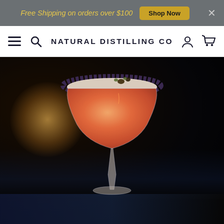Free Shipping on orders over $100  Shop Now  ×
NATURAL DISTILLING CO
[Figure (photo): A pink-orange cocktail in a coupe glass with a frosted rim and garnishes, photographed against a dark blurred bar background with warm bokeh lighting on the left.]